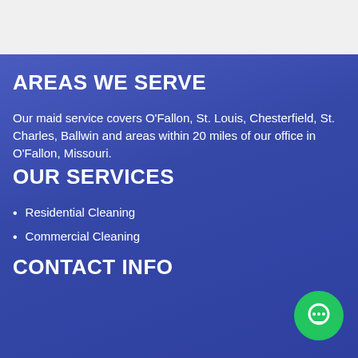AREAS WE SERVE
Our maid service covers O'Fallon, St. Louis, Chesterfield, St. Charles, Ballwin and areas within 20 miles of our office in O'Fallon, Missouri.
OUR SERVICES
Residential Cleaning
Commercial Cleaning
CONTACT INFO
[Figure (illustration): Green circular chat bubble icon in the bottom right corner]